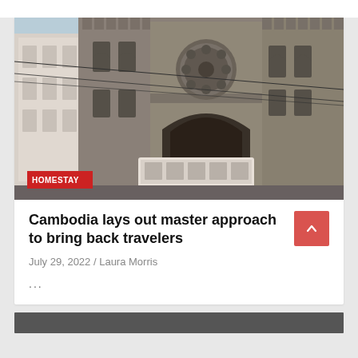[Figure (photo): Photograph of a historic stone cathedral with a rose window and arched entrance, a tram visible at the bottom, taken from a street-level angle. A red 'HOMESTAY' badge overlays the bottom-left of the image.]
Cambodia lays out master approach to bring back travelers
July 29, 2022 / Laura Morris
...